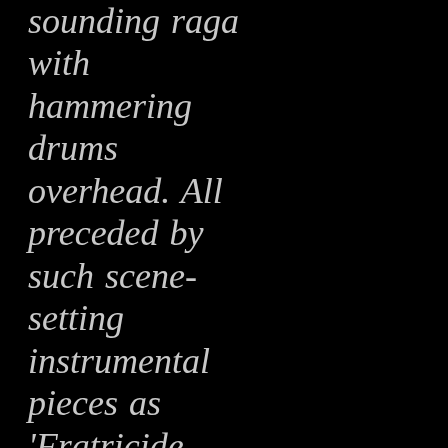sounding raga with hammering drums overhead. All preceded by such scene-setting instrumental pieces as 'Fratricide Pastorale' and 'Barbwire Tumbleweed'.

And he rounds